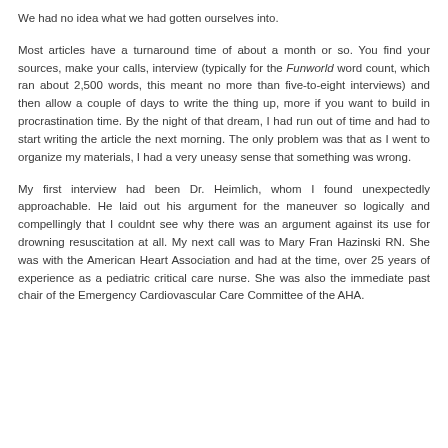We had no idea what we had gotten ourselves into.
Most articles have a turnaround time of about a month or so. You find your sources, make your calls, interview (typically for the Funworld word count, which ran about 2,500 words, this meant no more than five-to-eight interviews) and then allow a couple of days to write the thing up, more if you want to build in procrastination time. By the night of that dream, I had run out of time and had to start writing the article the next morning. The only problem was that as I went to organize my materials, I had a very uneasy sense that something was wrong.
My first interview had been Dr. Heimlich, whom I found unexpectedly approachable. He laid out his argument for the maneuver so logically and compellingly that I couldnt see why there was an argument against its use for drowning resuscitation at all. My next call was to Mary Fran Hazinski RN. She was with the American Heart Association and had at the time, over 25 years of experience as a pediatric critical care nurse. She was also the immediate past chair of the Emergency Cardiovascular Care Committee of the AHA.